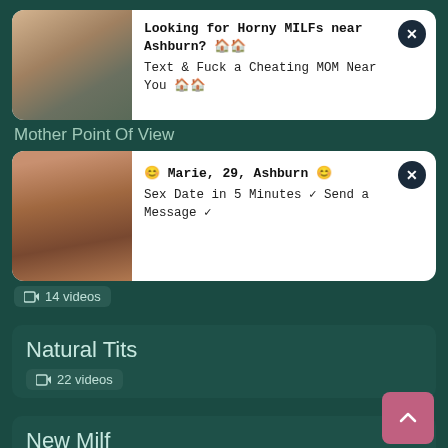[Figure (photo): Ad card 1 with photo of person and text: Looking for Horny MILFs near Ashburn? Text & Fuck a Cheating MOM Near You]
Mother Point Of View
[Figure (photo): Ad card 2 with photo and text: Marie, 29, Ashburn. Sex Date in 5 Minutes Send a Message]
14 videos
Natural Tits
22 videos
New Milf
11 videos